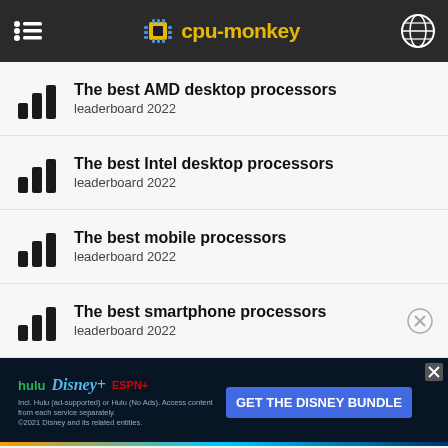cpu-monkey
The best AMD desktop processors
leaderboard 2022
The best Intel desktop processors
leaderboard 2022
The best mobile processors
leaderboard 2022
The best smartphone processors
leaderboard 2022
[Figure (screenshot): Disney Bundle advertisement banner with Hulu, Disney+, and ESPN+ logos. Text: GET THE DISNEY BUNDLE. Incl. Hulu (ad-supported) or Hulu (No Ads). Access content from each service separately. ©2021 Disney and its related entities.]
leaderboard 2022